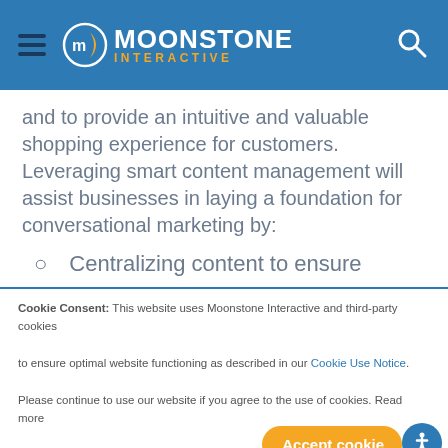Moonstone Interactive
and to provide an intuitive and valuable shopping experience for customers. Leveraging smart content management will assist businesses in laying a foundation for conversational marketing by:
Centralizing content to ensure
Cookie Consent: This website uses Moonstone Interactive and third-party cookies to ensure optimal website functioning as described in our Cookie Use Notice. Please continue to use our website if you agree to the use of cookies. Read more on our Privacy Policy page.